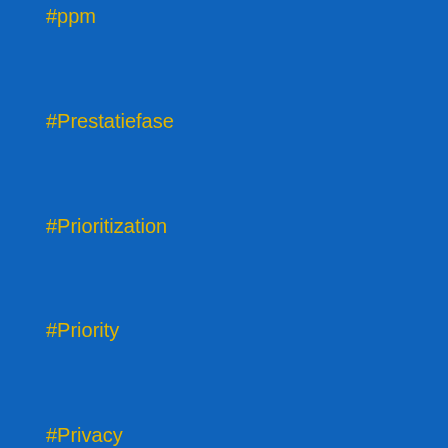#ppm
#Prestatiefase
#Prioritization
#Priority
#Privacy
#Product
#Product
#ProductDevelopment
#productiveteams
#Productivity